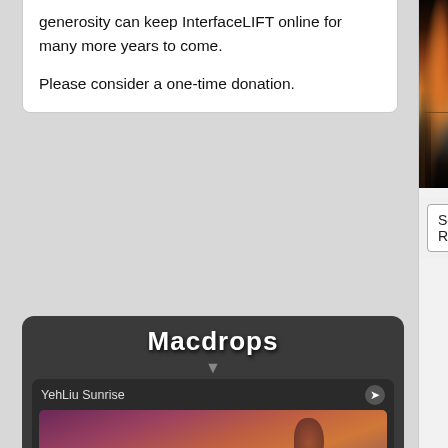generosity can keep InterfaceLIFT online for many more years to come.

Please consider a one-time donation.
[Figure (screenshot): Macdrops Mac OS X app advertisement showing 'YehLiu Sunrise' wallpaper with purple/orange sunset over rocky shore with tidal pool, Set as Desktop Background button]
InterfaceLIFT's Mac OS X app!
[Figure (photo): Landscape photo of orange sunset reflection over lake with dark vegetation, Colorado landscape photography]
Select Resolution:
Down
Wallpaper Categories
This wallpaper has been tagged with the keywords:
colorado »
lakes »
landscape »
long-exposure »
orange »
photography »
reflections »
sky »
Click a tag above to view other images in the same